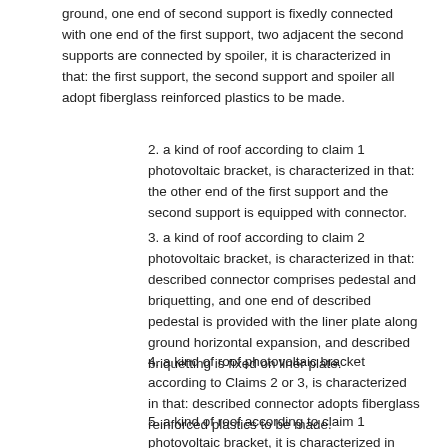ground, one end of second support is fixedly connected with one end of the first support, two adjacent the second supports are connected by spoiler, it is characterized in that: the first support, the second support and spoiler all adopt fiberglass reinforced plastics to be made.
2. a kind of roof according to claim 1 photovoltaic bracket, is characterized in that: the other end of the first support and the second support is equipped with connector.
3. a kind of roof according to claim 2 photovoltaic bracket, is characterized in that: described connector comprises pedestal and briquetting, and one end of described pedestal is provided with the liner plate along ground horizontal expansion, and described briquetting is fixed on liner plate.
4. a kind of roof photovoltaic bracket according to Claims 2 or 3, is characterized in that: described connector adopts fiberglass reinforced plastics to be made.
5. a kind of roof according to claim 1 photovoltaic bracket, it is characterized in that: also comprise balancing weight, this balancing weight is pressed on the first support.